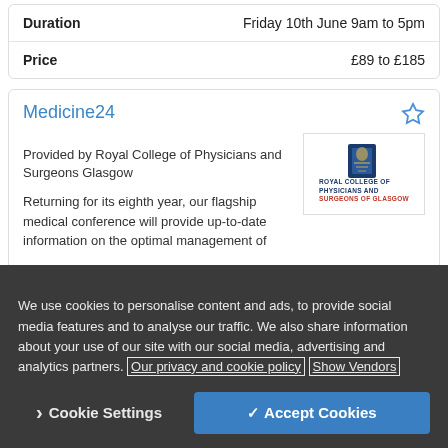| Duration | Friday 10th June 9am to 5pm |
| Price | £89 to £185 |
Medicine24
Provided by Royal College of Physicians and Surgeons Glasgow
[Figure (logo): Royal College of Physicians and Surgeons of Glasgow logo with crest]
Returning for its eighth year, our flagship medical conference will provide up-to-date information on the optimal management of
We use cookies to personalise content and ads, to provide social media features and to analyse our traffic. We also share information about your use of our site with our social media, advertising and analytics partners. Our privacy and cookie policy Show Vendors